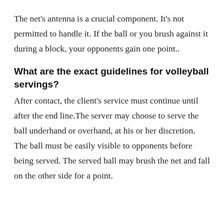The net's antenna is a crucial component. It's not permitted to handle it. If the ball or you brush against it during a block, your opponents gain one point..
What are the exact guidelines for volleyball servings?
After contact, the client's service must continue until after the end line.The server may choose to serve the ball underhand or overhand, at his or her discretion. The ball must be easily visible to opponents before being served. The served ball may brush the net and fall on the other side for a point.